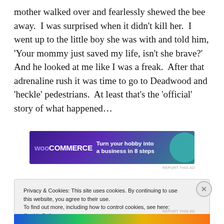mother walked over and fearlessly shewed the bee away.  I was surprised when it didn't kill her.  I went up to the little boy she was with and told him, 'Your mommy just saved my life, isn't she brave?'  And he looked at me like I was a freak.  After that adrenaline rush it was time to go to Deadwood and 'heckle' pedestrians.  At least that's the 'official' story of what happened…
[Figure (screenshot): WooCommerce advertisement banner: 'Turn your hobby into a business in 8 steps']
Privacy & Cookies: This site uses cookies. By continuing to use this website, you agree to their use.
To find out more, including how to control cookies, see here: Cookie Policy
Close and accept